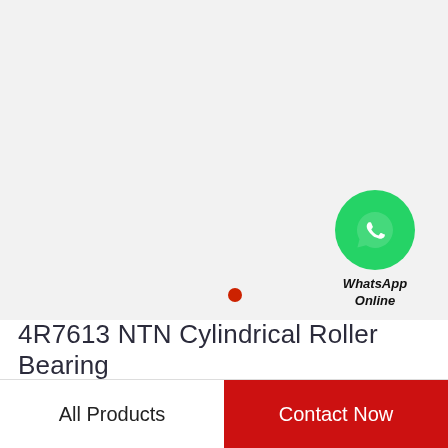[Figure (logo): WhatsApp contact widget with green circle phone icon and text 'WhatsApp Online']
[Figure (other): Small red dot bullet point]
4R7613 NTN Cylindrical Roller Bearing
All Products   Contact Now